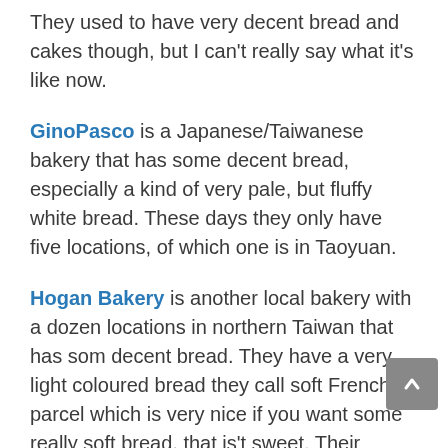They used to have very decent bread and cakes though, but I can't really say what it's like now.
GinoPasco is a Japanese/Taiwanese bakery that has some decent bread, especially a kind of very pale, but fluffy white bread. These days they only have five locations, of which one is in Taoyuan.
Hogan Bakery is another local bakery with a dozen locations in northern Taiwan that has som decent bread. They have a very light coloured bread they call soft French parcel which is very nice if you want some really soft bread, that is't sweet. Their crown milk toast is the best toast I've found in Taiwan, even though the slices are a bit on the thick side, but it toasts up really nice.
Flavor Field is another local bakery that you